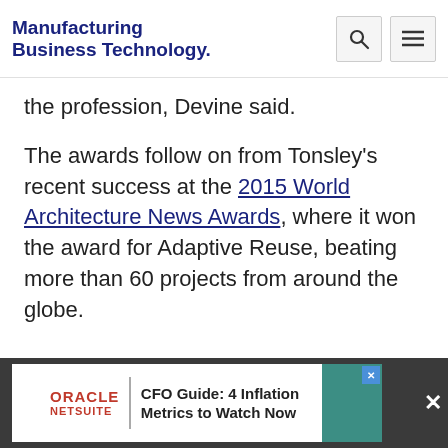Manufacturing Business Technology
the profession, Devine said.
The awards follow on from Tonsley's recent success at the 2015 World Architecture News Awards, where it won the award for Adaptive Reuse, beating more than 60 projects from around the globe.
[Figure (screenshot): Oracle NetSuite advertisement banner: CFO Guide: 4 Inflation Metrics to Watch Now]